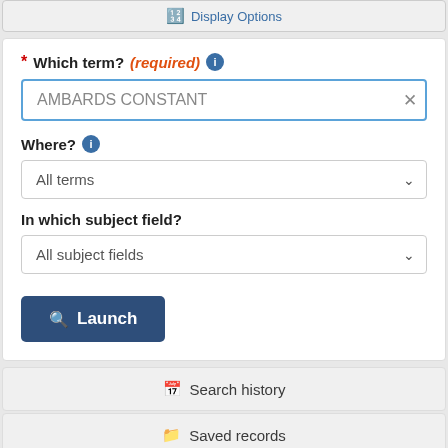Display Options
* Which term? (required)
AMBARDS CONSTANT
Where?
All terms
In which subject field?
All subject fields
Launch
Search history
Saved records
Suggestions